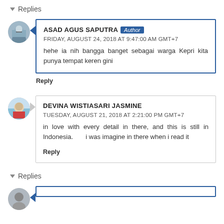Replies
ASAD AGUS SAPUTRA Author FRIDAY, AUGUST 24, 2018 AT 9:47:00 AM GMT+7
hehe ia nih bangga banget sebagai warga Kepri kita punya tempat keren gini
Reply
DEVINA WISTIASARI JASMINE TUESDAY, AUGUST 21, 2018 AT 2:21:00 PM GMT+7
in love with every detail in there, and this is still in Indonesia.      i was imagine in there when i read it
Reply
Replies